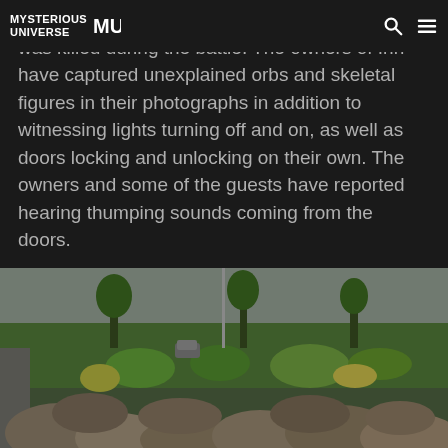MYSTERIOUS UNIVERSE
Cashtown Inn was the site where the first soldier was killed during the battle. The owners of Inn have captured unexplained orbs and skeletal figures in their photographs in addition to witnessing lights turning off and on, as well as doors locking and unlocking on their own. The owners and some of the guests have reported hearing thumping sounds coming from the doors.
[Figure (photo): Outdoor photograph showing large rocks/boulders in the foreground with lush green vegetation, shrubs and trees in the background under an overcast sky. A road is partially visible on the left side.]